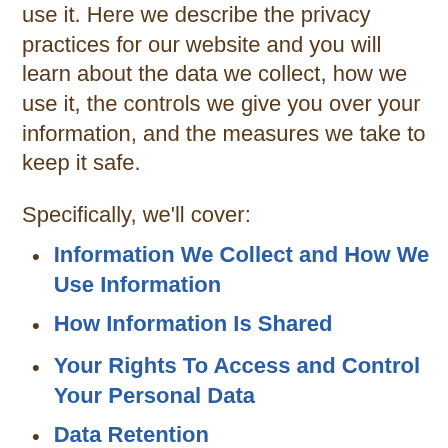use it. Here we describe the privacy practices for our website and you will learn about the data we collect, how we use it, the controls we give you over your information, and the measures we take to keep it safe.
Specifically, we'll cover:
Information We Collect and How We Use Information
How Information Is Shared
Your Rights To Access and Control Your Personal Data
Data Retention